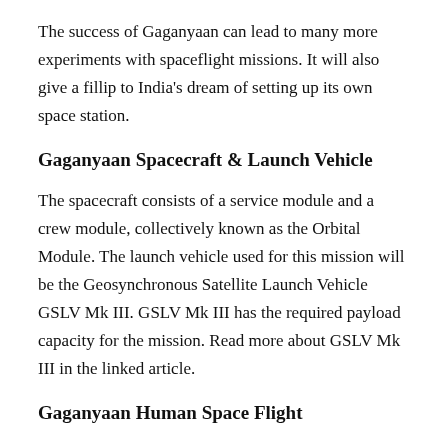The success of Gaganyaan can lead to many more experiments with spaceflight missions. It will also give a fillip to India's dream of setting up its own space station.
Gaganyaan Spacecraft & Launch Vehicle
The spacecraft consists of a service module and a crew module, collectively known as the Orbital Module. The launch vehicle used for this mission will be the Geosynchronous Satellite Launch Vehicle GSLV Mk III. GSLV Mk III has the required payload capacity for the mission. Read more about GSLV Mk III in the linked article.
Gaganyaan Human Space Flight